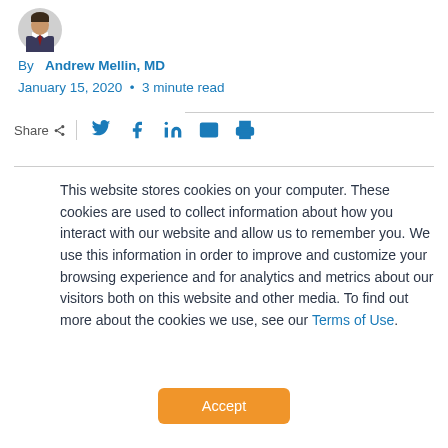[Figure (photo): Small circular headshot of Andrew Mellin, MD in a suit]
By  Andrew Mellin, MD
January 15, 2020  •  3 minute read
Share — Twitter, Facebook, LinkedIn, Email, Print icons
This website stores cookies on your computer. These cookies are used to collect information about how you interact with our website and allow us to remember you. We use this information in order to improve and customize your browsing experience and for analytics and metrics about our visitors both on this website and other media. To find out more about the cookies we use, see our Terms of Use.
Accept